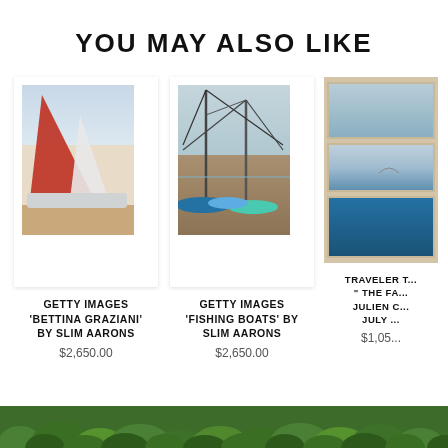YOU MAY ALSO LIKE
[Figure (photo): Sailboat with red and white sail on a beach, framed print - Getty Images 'Bettina Graziani' by Slim Aarons]
GETTY IMAGES 'BETTINA GRAZIANI' BY SLIM AARONS
$2,650.00
[Figure (photo): Fishing boats and nets on a beach - Getty Images 'Fishing Boats' by Slim Aarons]
GETTY IMAGES 'FISHING BOATS' BY SLIM AARONS
$2,650.00
[Figure (photo): Framed triptych of ocean/seascape photographs - Traveler, The Far..., Julien C..., July...]
TRAVELER " THE FA... JULIEN C... JULY ...
$1,05...
[Figure (photo): Green foliage footer strip]